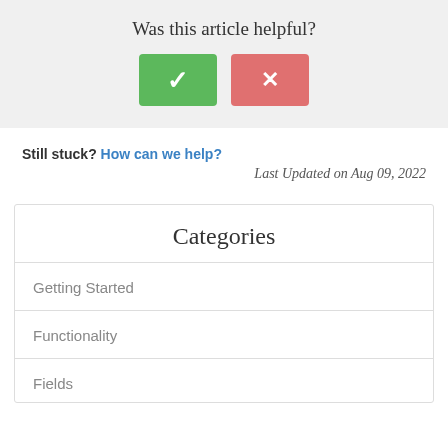Was this article helpful?
[Figure (other): Two buttons: a green checkmark (yes) button and a red/pink X (no) button for article feedback]
Still stuck? How can we help?
Last Updated on Aug 09, 2022
Categories
Getting Started
Functionality
Fields